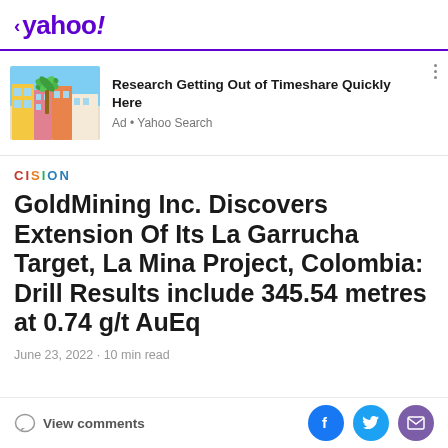< yahoo!
[Figure (screenshot): Advertisement with image of colorful Mediterranean-style buildings with palm tree. Ad title: Research Getting Out of Timeshare Quickly Here. Ad source: Ad • Yahoo Search]
CISION
GoldMining Inc. Discovers Extension Of Its La Garrucha Target, La Mina Project, Colombia: Drill Results include 345.54 metres at 0.74 g/t AuEq
June 23, 2022 · 10 min read
View comments